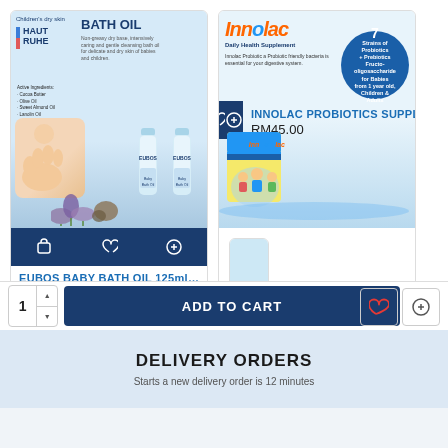[Figure (photo): EUBOS Baby Bath Oil product image showing two bottles with lavender and baby imagery on a light blue background]
[Figure (photo): Innolac Probiotics Supplement product box with Innolac logo, 7 strains badge, and children cartoon characters]
[Figure (photo): Partial third product card cut off at right edge]
EUBOS BABY BATH OIL 125ml x...
RM75.80
INNOLAC PROBIOTICS SUPPLE...
RM45.00
EU
RI
DELIVERY ORDERS
Starts a new delivery order is 12 minutes
1
ADD TO CART